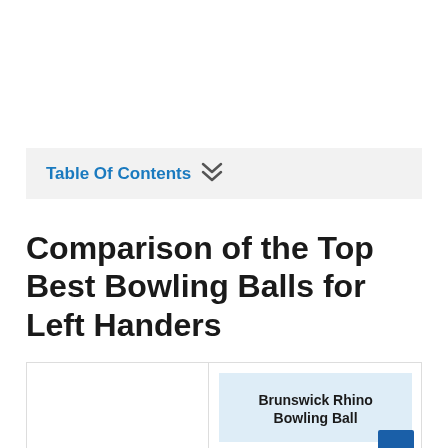Table Of Contents ❯❯
Comparison of the Top Best Bowling Balls for Left Handers
|  | Brunswick Rhino Bowling Ball |
| --- | --- |